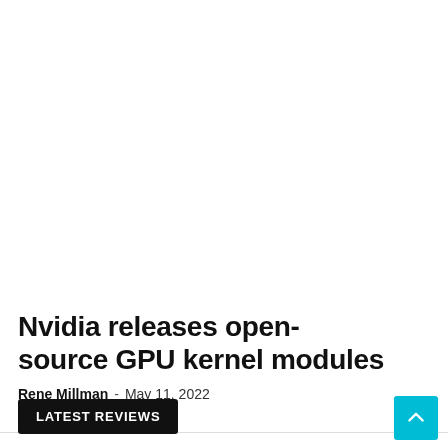Nvidia releases open-source GPU kernel modules
Rene Millman - May 11, 2022
LATEST REVIEWS